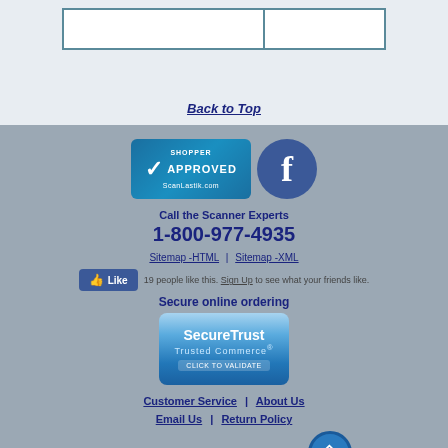Back to Top
[Figure (logo): Shopper Approved badge for ScanLastik.com and Facebook logo circle]
Call the Scanner Experts
1-800-977-4935
Sitemap -HTML | Sitemap -XML
19 people like this. Sign Up to see what your friends like.
Secure online ordering
[Figure (logo): SecureTrust Trusted Commerce - Click to Validate badge]
Customer Service | About Us
Email Us | Return Policy
Terms & Conditions | Privacy Policy